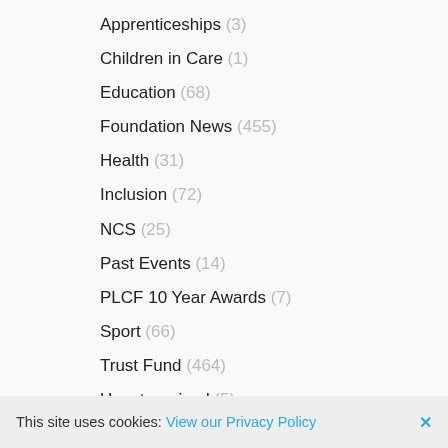Apprenticeships (3)
Children in Care (1)
Education (68)
Foundation News (455)
Health (31)
Inclusion (72)
NCS (25)
Past Events (14)
PLCF 10 Year Awards (7)
Sport (66)
Trust Fund (464)
Uncategorised (5)
This site uses cookies: View our Privacy Policy ×